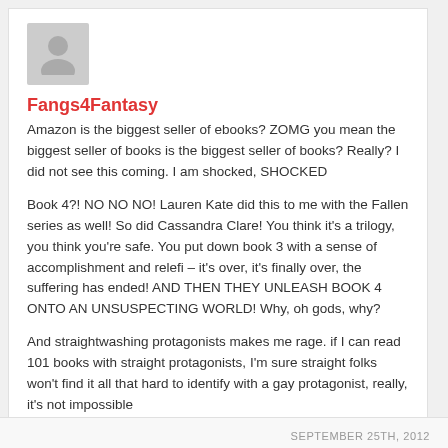[Figure (illustration): Gray placeholder avatar silhouette icon]
Fangs4Fantasy
Amazon is the biggest seller of ebooks? ZOMG you mean the biggest seller of books is the biggest seller of books? Really? I did not see this coming. I am shocked, SHOCKED
Book 4?! NO NO NO! Lauren Kate did this to me with the Fallen series as well! So did Cassandra Clare! You think it's a trilogy, you think you're safe. You put down book 3 with a sense of accomplishment and relefi – it's over, it's finally over, the suffering has ended! AND THEN THEY UNLEASH BOOK 4 ONTO AN UNSUSPECTING WORLD! Why, oh gods, why?
And straightwashing protagonists makes me rage. if I can read 101 books with straight protagonists, I'm sure straight folks won't find it all that hard to identify with a gay protagonist, really, it's not impossible
SEPTEMBER 25TH, 2012